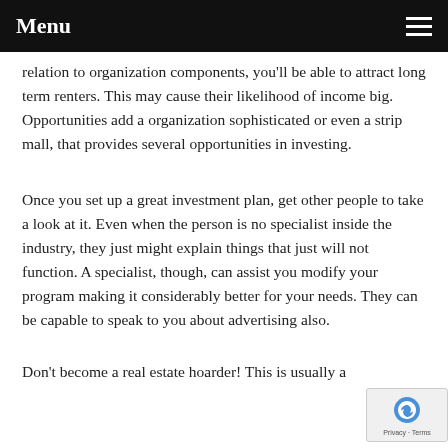Menu
relation to organization components, you'll be able to attract long term renters. This may cause their likelihood of income big. Opportunities add a organization sophisticated or even a strip mall, that provides several opportunities in investing.
Once you set up a great investment plan, get other people to take a look at it. Even when the person is no specialist inside the industry, they just might explain things that just will not function. A specialist, though, can assist you modify your program making it considerably better for your needs. They can be capable to speak to you about advertising also.
Don't become a real estate hoarder! This is usually a